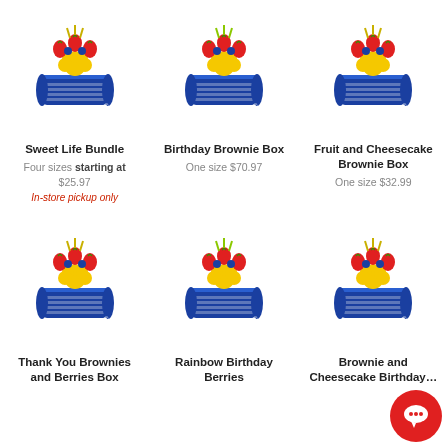[Figure (logo): Edible Arrangements style fruit bouquet logo]
Sweet Life Bundle
Four sizes starting at $25.97
In-store pickup only
[Figure (logo): Edible Arrangements style fruit bouquet logo]
Birthday Brownie Box
One size $70.97
[Figure (logo): Edible Arrangements style fruit bouquet logo]
Fruit and Cheesecake Brownie Box
One size $32.99
[Figure (logo): Edible Arrangements style fruit bouquet logo]
Thank You Brownies and Berries Box
[Figure (logo): Edible Arrangements style fruit bouquet logo]
Rainbow Birthday Berries
[Figure (logo): Edible Arrangements style fruit bouquet logo]
Brownie and Cheesecake Birthday Box